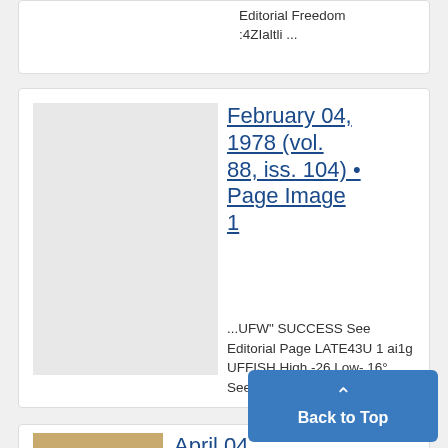Editorial Freedom :4ZIaltli ...
February 04, 1978 (vol. 88, iss. 104) • Page Image 1
...UFW" SUCCESS See Editorial Page LATE43U 1 ai1g UFFISH High -26 Low- 16° See Today for details Vo...
April 04